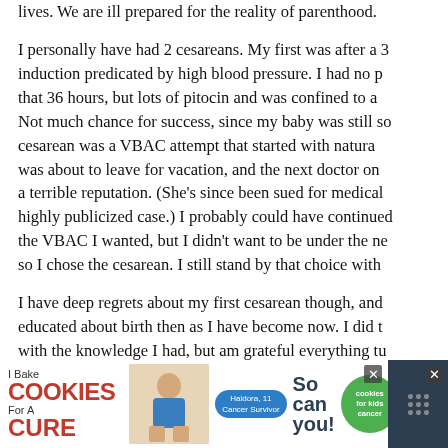lives. We are ill prepared for the reality of parenthood.
I personally have had 2 cesareans. My first was after a 36 hour induction predicated by high blood pressure. I had no pitocin that 36 hours, but lots of pitocin and was confined to a bed. Not much chance for success, since my baby was still so... cesarean was a VBAC attempt that started with natura... was about to leave for vacation, and the next doctor on... a terrible reputation. (She's since been sued for medical... highly publicized case.) I probably could have continued... the VBAC I wanted, but I didn't want to be under the ne... so I chose the cesarean. I still stand by that choice with...
I have deep regrets about my first cesarean though, and... educated about birth then as I have become now. I did t... with the knowledge I had, but am grateful everything tu... ultimately.
It's such an emotionally charged time. Becoming a new... into the world, dealing with all those hormones and ma...
[Figure (screenshot): Advertisement banner: 'I Bake COOKIES For A CURE' with image of a girl, so can you! cookies for kids cancer logo, close buttons]